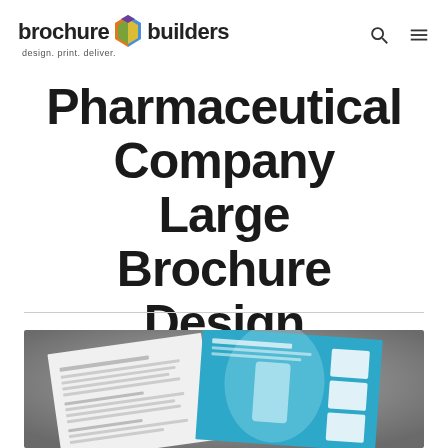brochure builders — design. print. deliver.
Pharmaceutical Company Large Brochure Design
[Figure (photo): Photo of a pharmaceutical company large brochure design — a folded multi-panel brochure with blue and white panels featuring medical imagery and text, displayed on a gray background]